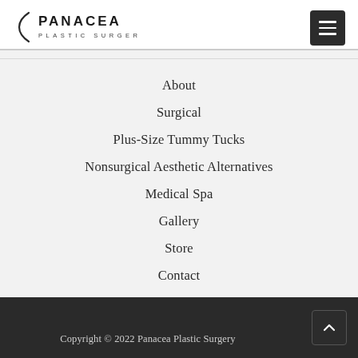[Figure (logo): Panacea Plastic Surgery logo with bracket and text]
About
Surgical
Plus-Size Tummy Tucks
Nonsurgical Aesthetic Alternatives
Medical Spa
Gallery
Store
Contact
Copyright © 2022 Panacea Plastic Surgery